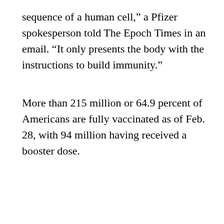sequence of a human cell,” a Pfizer spokesperson told The Epoch Times in an email. “It only presents the body with the instructions to build immunity.”
More than 215 million or 64.9 percent of Americans are fully vaccinated as of Feb. 28, with 94 million having received a booster dose.